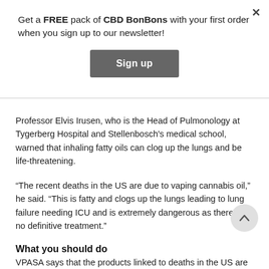Get a FREE pack of CBD BonBons with your first order when you sign up to our newsletter!
Sign up
Professor Elvis Irusen, who is the Head of Pulmonology at Tygerberg Hospital and Stellenbosch's medical school, warned that inhaling fatty oils can clog up the lungs and be life-threatening.
“The recent deaths in the US are due to vaping cannabis oil,” he said. “This is fatty and clogs up the lungs leading to lung failure needing ICU and is extremely dangerous as there is no definitive treatment.”
What you should do
VPASA says that the products linked to deaths in the US are